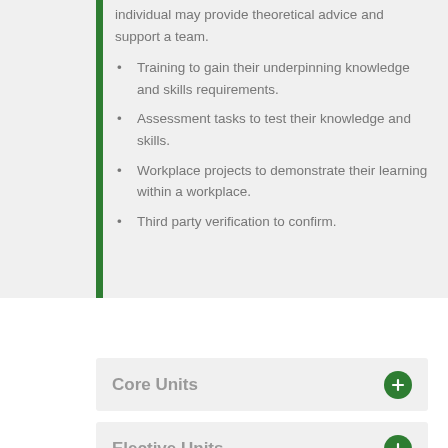individual may provide theoretical advice and support a team.
Training to gain their underpinning knowledge and skills requirements.
Assessment tasks to test their knowledge and skills.
Workplace projects to demonstrate their learning within a workplace.
Third party verification to confirm.
Core Units
Elective Units